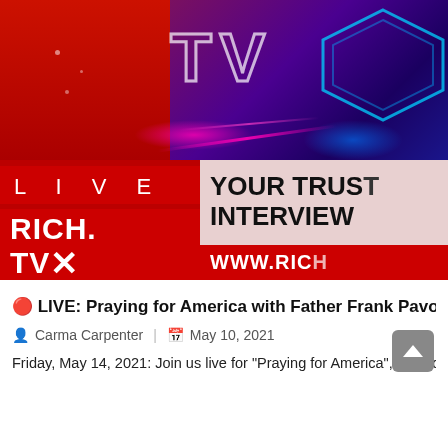[Figure (screenshot): Rich TV X live broadcast graphic. Top portion shows a TV screen with purple-red gradient background and large 'TV' text outline with neon laser effects and a diamond/hexagon shape. Bottom portion shows a banner split: left side is red with 'LIVE' text and 'RICH TV X' logo; right side is light pink/beige with 'YOUR TRUS... INTERVIEW...' text and 'WWW RIC...' in red bar.]
🔴 LIVE: Praying for America with Father Frank Pavone -
Carma Carpenter  |  May 10, 2021
Friday, May 14, 2021: Join us live for "Praying for America", hosted b...